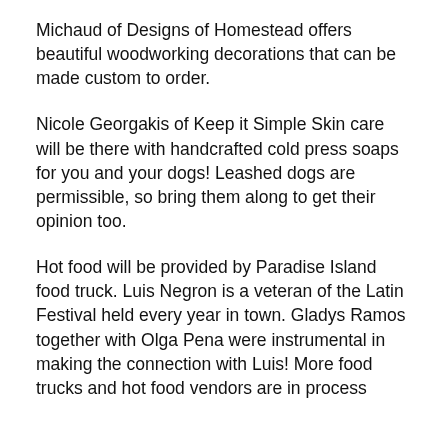Michaud of Designs of Homestead offers beautiful woodworking decorations that can be made custom to order.
Nicole Georgakis of Keep it Simple Skin care will be there with handcrafted cold press soaps for you and your dogs! Leashed dogs are permissible, so bring them along to get their opinion too.
Hot food will be provided by Paradise Island food truck. Luis Negron is a veteran of the Latin Festival held every year in town. Gladys Ramos together with Olga Pena were instrumental in making the connection with Luis! More food trucks and hot food vendors are in process